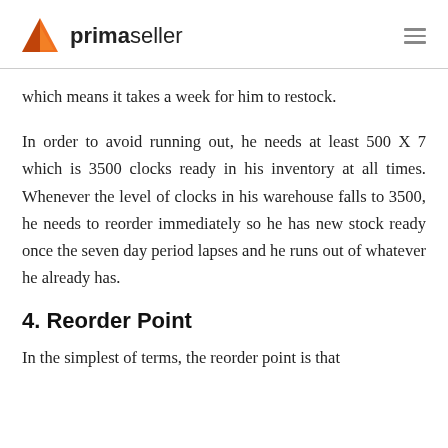primaseller
which means it takes a week for him to restock.
In order to avoid running out, he needs at least 500 X 7 which is 3500 clocks ready in his inventory at all times. Whenever the level of clocks in his warehouse falls to 3500, he needs to reorder immediately so he has new stock ready once the seven day period lapses and he runs out of whatever he already has.
4. Reorder Point
In the simplest of terms, the reorder point is that